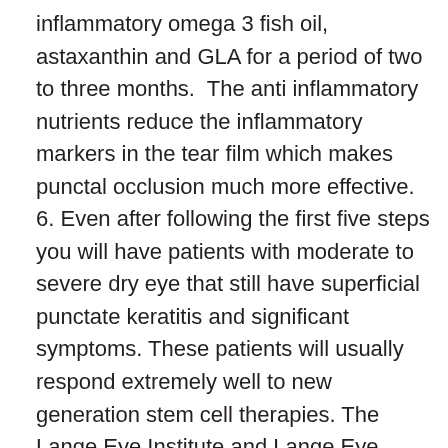inflammatory omega 3 fish oil, astaxanthin and GLA for a period of two to three months.  The anti inflammatory nutrients reduce the inflammatory markers in the tear film which makes punctal occlusion much more effective. 6. Even after following the first five steps you will have patients with moderate to severe dry eye that still have superficial punctate keratitis and significant symptoms. These patients will usually respond extremely well to new generation stem cell therapies. The Lange Eye Institute and Lange Eye Care Centers are now using  a cryopreserved amniotic membrane called Prokera to reduce inflammation and promote regenerative healing of the ocular surface in these significant dry eye cases . Prokera is a safe quick in office procedure similar to placing a contact lens on the eye that improves the health of a damaged ocular surface naturally. Lange Eye Care